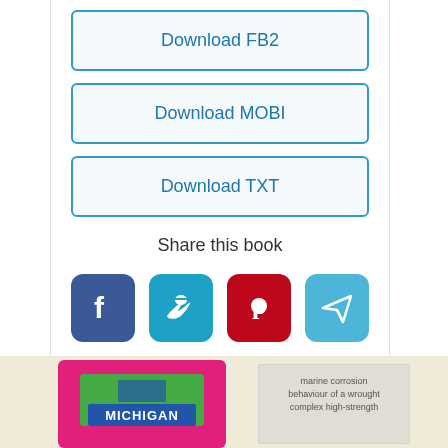[Figure (screenshot): Download buttons for FB2, MOBI, TXT formats inside a card]
Download FB2
Download MOBI
Download TXT
Share this book
[Figure (illustration): Social share icons: Facebook (blue), Twitter (cyan), Pinterest (red), Telegram (light blue)]
You might also like
[Figure (illustration): Book cover with pink background and MICHIGAN text visible]
[Figure (illustration): Book cover for marine corrosion behaviour of a wrought complex high-strength book]